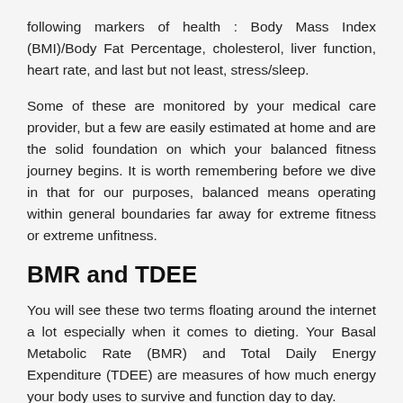following markers of health : Body Mass Index (BMI)/Body Fat Percentage, cholesterol, liver function, heart rate, and last but not least, stress/sleep.
Some of these are monitored by your medical care provider, but a few are easily estimated at home and are the solid foundation on which your balanced fitness journey begins. It is worth remembering before we dive in that for our purposes, balanced means operating within general boundaries far away for extreme fitness or extreme unfitness.
BMR and TDEE
You will see these two terms floating around the internet a lot especially when it comes to dieting. Your Basal Metabolic Rate (BMR) and Total Daily Energy Expenditure (TDEE) are measures of how much energy your body uses to survive and function day to day.